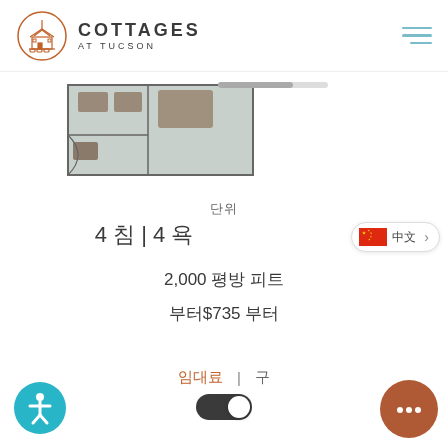COTTAGES AT TUCSON
[Figure (illustration): Partial floor plan image showing a room layout in a top-down view]
단위
4 침 | 4 욕
2,000 평방 피트
부터$735 부터
[Figure (screenshot): Language selector showing Chinese flag and text with arrow]
임대료 | 구
[Figure (infographic): Toggle switch control in dark/off position]
[Figure (illustration): Accessibility icon button - blue circle with person figure]
[Figure (illustration): Chat button - brown/terracotta circle with ellipsis dots]